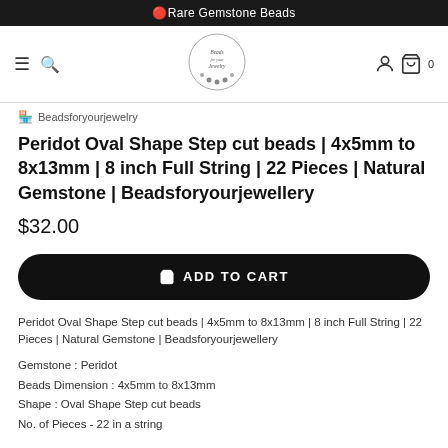🔴Rare Gemstone Beads
[Figure (logo): Beads for your Jewelry circular logo with beads around the border]
Beadsforyourjewelry
Peridot Oval Shape Step cut beads | 4x5mm to 8x13mm | 8 inch Full String | 22 Pieces | Natural Gemstone | Beadsforyourjewellery
$32.00
🛒 ADD TO CART
Peridot Oval Shape Step cut beads | 4x5mm to 8x13mm | 8 inch Full String | 22 Pieces | Natural Gemstone | Beadsforyourjewellery
Gemstone : Peridot
Beads Dimension : 4x5mm to 8x13mm
Shape : Oval Shape Step cut beads
No. of Pieces - 22 in a string